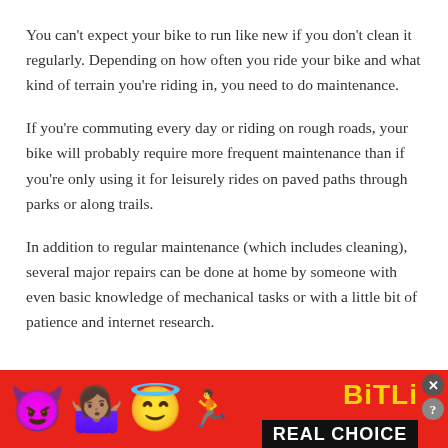You can't expect your bike to run like new if you don't clean it regularly. Depending on how often you ride your bike and what kind of terrain you're riding in, you need to do maintenance.
If you're commuting every day or riding on rough roads, your bike will probably require more frequent maintenance than if you're only using it for leisurely rides on paved paths through parks or along trails.
In addition to regular maintenance (which includes cleaning), several major repairs can be done at home by someone with even basic knowledge of mechanical tasks or with a little bit of patience and internet research.
[Figure (illustration): Advertisement banner with red background showing emoji characters (devil, woman shrugging, angel/winking face, sperm emoji) and BitLife branding text in yellow with 'REAL CHOICE' text on black bar. Close (X) and help (?) buttons in top right.]